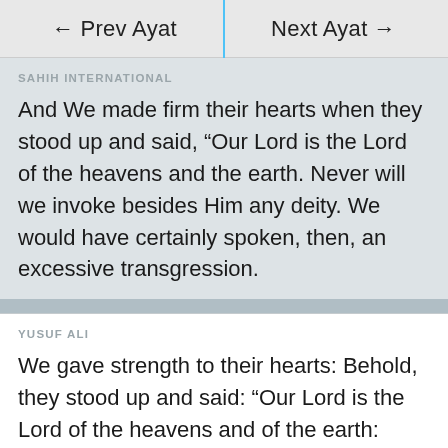← Prev Ayat | Next Ayat →
SAHIH INTERNATIONAL
And We made firm their hearts when they stood up and said, “Our Lord is the Lord of the heavens and the earth. Never will we invoke besides Him any deity. We would have certainly spoken, then, an excessive transgression.
YUSUF ALI
We gave strength to their hearts: Behold, they stood up and said: “Our Lord is the Lord of the heavens and of the earth: never shall we call upon any god other than Him: if we did, we should indeed have uttered an enormity!